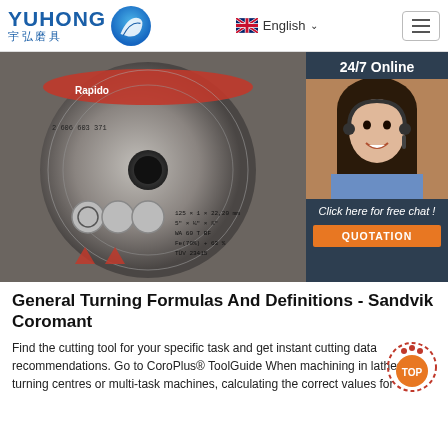YUHONG 宇弘磨具 | English | Menu
[Figure (photo): Close-up photograph of a Rapido grinding/cutting disc with safety symbols and specifications. A 24/7 Online chat widget with a female customer service agent wearing a headset is overlaid on the right side. Below her photo are the text 'Click here for free chat!' and an orange QUOTATION button.]
General Turning Formulas And Definitions - Sandvik Coromant
Find the cutting tool for your specific task and get instant cutting data recommendations. Go to CoroPlus® ToolGuide When machining in lathes, turning centres or multi-task machines, calculating the correct values for